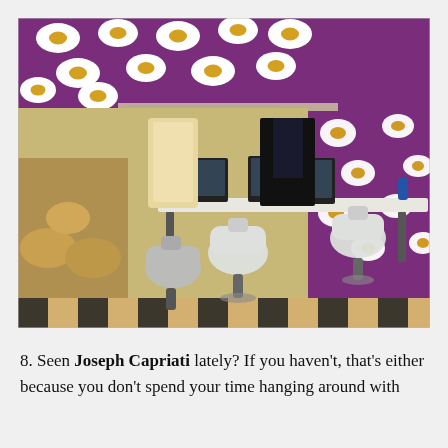[Figure (photo): Interior of an eccentric office space with purple walls and ceiling covered in fried egg patterns, white ergonomic office chairs, a long white desk with computer monitors, a black-and-white checkered floor, and warm ambient lighting.]
8. Seen Joseph Capriati lately? If you haven't, that's either because you don't spend your time hanging around with